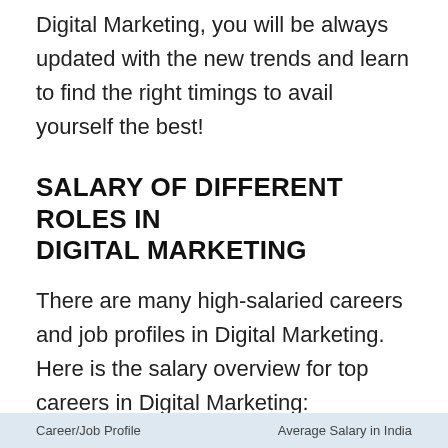Digital Marketing, you will be always updated with the new trends and learn to find the right timings to avail yourself the best!
SALARY OF DIFFERENT ROLES IN DIGITAL MARKETING
There are many high-salaried careers and job profiles in Digital Marketing.  Here is the salary overview for top careers in Digital Marketing:
| Career/Job Profile | Average Salary in India |
| --- | --- |